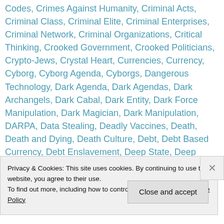Codes, Crimes Against Humanity, Criminal Acts, Criminal Class, Criminal Elite, Criminal Enterprises, Criminal Network, Criminal Organizations, Critical Thinking, Crooked Government, Crooked Politicians, Crypto-Jews, Crystal Heart, Currencies, Currency, Cyborg, Cyborg Agenda, Cyborgs, Dangerous Technology, Dark Agenda, Dark Agendas, Dark Archangels, Dark Cabal, Dark Entity, Dark Force Manipulation, Dark Magician, Dark Manipulation, DARPA, Data Stealing, Deadly Vaccines, Death, Death and Dying, Death Culture, Debt, Debt Based Currency, Debt Enslavement, Deep State, Deep State Criminals, Deep State Government, Dementia, Dementia Causes, Democrat / Republican, Demonic
Privacy & Cookies: This site uses cookies. By continuing to use this website, you agree to their use.
To find out more, including how to control cookies, see here: Cookie Policy